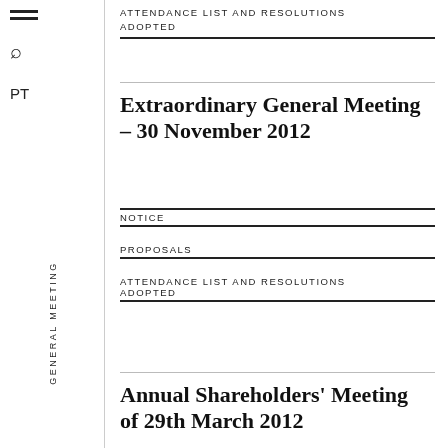ATTENDANCE LIST AND RESOLUTIONS ADOPTED
Extraordinary General Meeting – 30 November 2012
NOTICE
PROPOSALS
ATTENDANCE LIST AND RESOLUTIONS ADOPTED
Annual Shareholders' Meeting of 29th March 2012